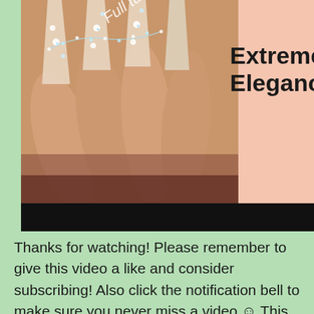[Figure (photo): Close-up photo of long acrylic nails decorated with rhinestones and crystal embellishments on a hand, with text 'Full tuto' in italic white overlay and 'Extreme Elegance' in bold black text on a pink background in the upper right. A black bar appears at the bottom of the image.]
Thanks for watching! Please remember to give this video a like and consider subscribing! Also click the notification bell to make sure you never miss a video ☺ This design is romantic, elegant and extreme at the same time! I hope you enjoy! you can add me on social media